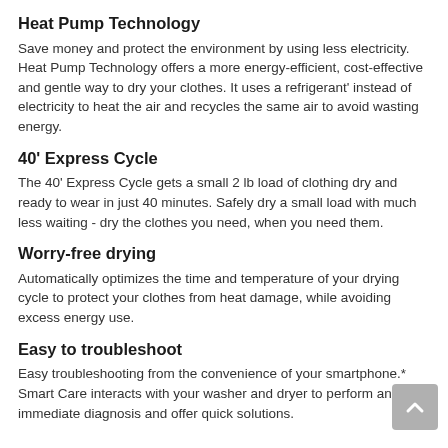Heat Pump Technology
Save money and protect the environment by using less electricity. Heat Pump Technology offers a more energy-efficient, cost-effective and gentle way to dry your clothes. It uses a refrigerant' instead of electricity to heat the air and recycles the same air to avoid wasting energy.
40' Express Cycle
The 40' Express Cycle gets a small 2 lb load of clothing dry and ready to wear in just 40 minutes. Safely dry a small load with much less waiting - dry the clothes you need, when you need them.
Worry-free drying
Automatically optimizes the time and temperature of your drying cycle to protect your clothes from heat damage, while avoiding excess energy use.
Easy to troubleshoot
Easy troubleshooting from the convenience of your smartphone.* Smart Care interacts with your washer and dryer to perform an immediate diagnosis and offer quick solutions.